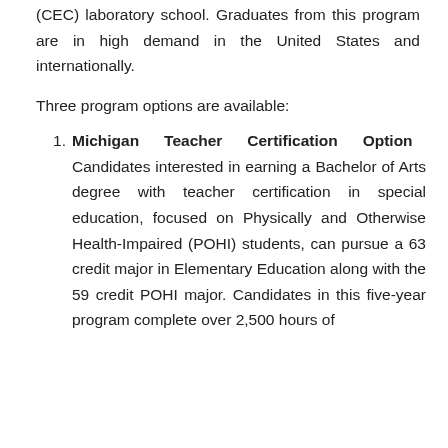(CEC) laboratory school. Graduates from this program are in high demand in the United States and internationally.
Three program options are available:
Michigan Teacher Certification Option Candidates interested in earning a Bachelor of Arts degree with teacher certification in special education, focused on Physically and Otherwise Health-Impaired (POHI) students, can pursue a 63 credit major in Elementary Education along with the 59 credit POHI major. Candidates in this five-year program complete over 2,500 hours of